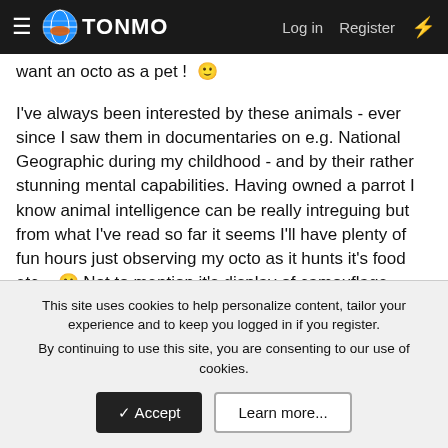TONMO | Log in | Register
want an octo as a pet !
I've always been interested by these animals - ever since I saw them in documentaries on e.g. National Geographic during my childhood - and by their rather stunning mental capabilities. Having owned a parrot I know animal intelligence can be really intreguing but from what I've read so far it seems I'll have plenty of fun hours just observing my octo as it hunts it's food etc... 😀 Not to mention it's display of camouflage techniques and the character the little Chtulhu will probably have, judging by your stories...
Unfortunately, I've had a rough time looking for octopusses around here (Belgium) so far... most people don't realise why a person would want an octo as a pet, and well... I've had some
This site uses cookies to help personalize content, tailor your experience and to keep you logged in if you register.
By continuing to use this site, you are consenting to our use of cookies.